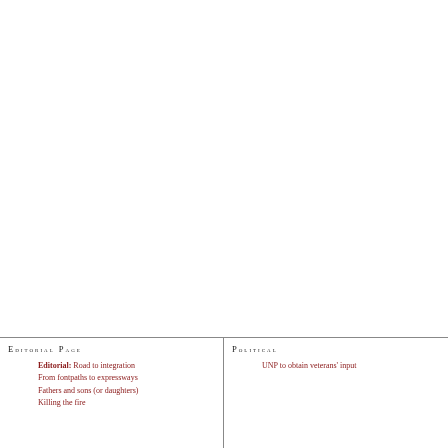Editorial Page
Editorial: Road to integration
From fontpaths to expressways
Fathers and sons (or daughters)
Killing the fire
Political
UNP to obtain veterans' input